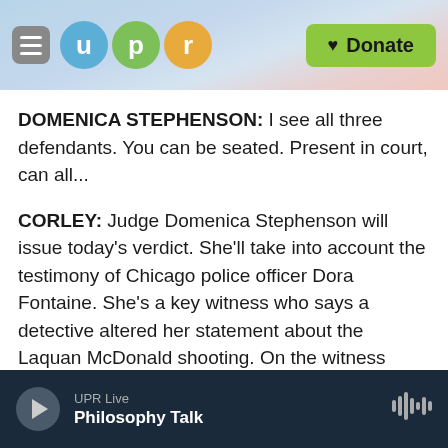[Figure (screenshot): UPR (Utah Public Radio) website header with hamburger menu, UPR logo circles (u, p, r in teal, green, orange), and a green Donate button]
DOMENICA STEPHENSON: I see all three defendants. You can be seated. Present in court, can all...
CORLEY: Judge Domenica Stephenson will issue today's verdict. She'll take into account the testimony of Chicago police officer Dora Fontaine. She's a key witness who says a detective altered her statement about the Laquan McDonald shooting. On the witness stand, she talked about why she was transferred from street to desk duty.
UPR Live | Philosophy Talk